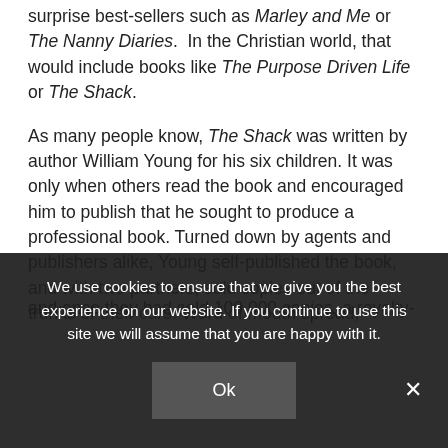surprise best-sellers such as Marley and Me or The Nanny Diaries. In the Christian world, that would include books like The Purpose Driven Life or The Shack.
As many people know, The Shack was written by author William Young for his six children. It was only when others read the book and encouraged him to publish that he sought to produce a professional book. Turned down by agents and publishers alike, Young self-published the book, and with two partners, sold copies out of the trunks of their cars. Word of mouth spread, and once they had sold 100,000 copies, a royalty-paying
We use cookies to ensure that we give you the best experience on our website. If you continue to use this site we will assume that you are happy with it.